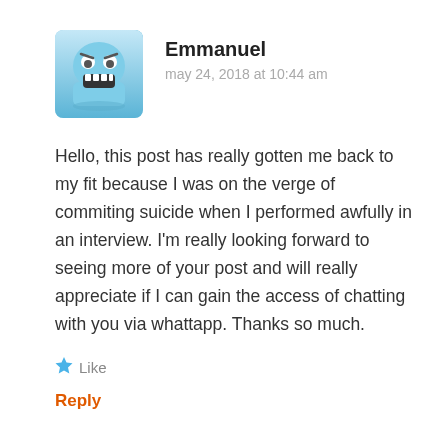[Figure (illustration): Avatar image of an animated angry/frustrated face character with blue coloring, rounded square shape with slight green-tinted border]
Emmanuel
may 24, 2018 at 10:44 am
Hello, this post has really gotten me back to my fit because I was on the verge of commiting suicide when I performed awfully in an interview. I’m really looking forward to seeing more of your post and will really appreciate if I can gain the access of chatting with you via whattapp. Thanks so much.
Like
Reply